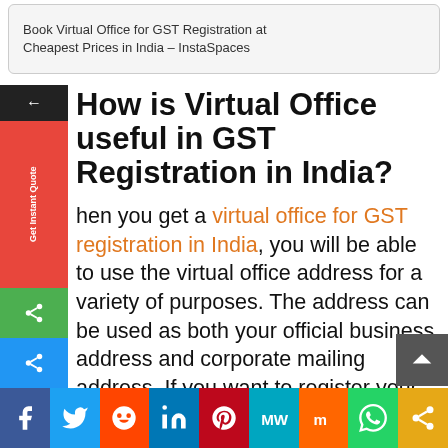Book Virtual Office for GST Registration at Cheapest Prices in India – InstaSpaces
How is Virtual Office useful in GST Registration in India?
When you get a virtual office for GST registration in India, you will be able to use the virtual office address for a variety of purposes. The address can be used as both your official business address and corporate mailing address. If you want to register your business under the GST scheme, you would need a commercial business address. Thus,